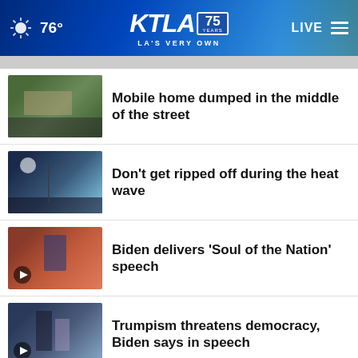76° KTLA 75 YEARS LA'S VERY OWN LIVE
Mobile home dumped in the middle of the street
Don't get ripped off during the heat wave
Biden delivers 'Soul of the Nation' speech
Trumpism threatens democracy, Biden says in speech
More Stories ›
#Dadication